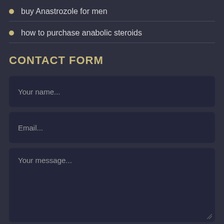buy Anastrozole for men
how to purchase anabolic steroids
CONTACT FORM
Your name...
Email...
Your message...